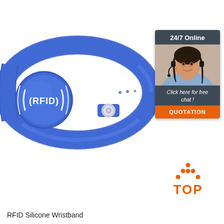[Figure (photo): Blue RFID silicone wristband with circular RFID chip disk showing '(RFID))' text and signal waves, and a snap button closure]
[Figure (infographic): 24/7 Online chat widget with a photo of a woman with headset, dark background, text 'Click here for free chat!' and orange QUOTATION button]
[Figure (logo): TOP logo with orange dot pattern forming a triangle/arrow shape above the word TOP in orange]
RFID Silicone Wristband